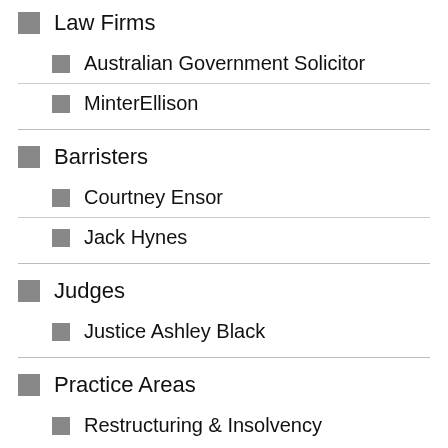Law Firms
Australian Government Solicitor
MinterEllison
Barristers
Courtney Ensor
Jack Hynes
Judges
Justice Ashley Black
Practice Areas
Restructuring & Insolvency